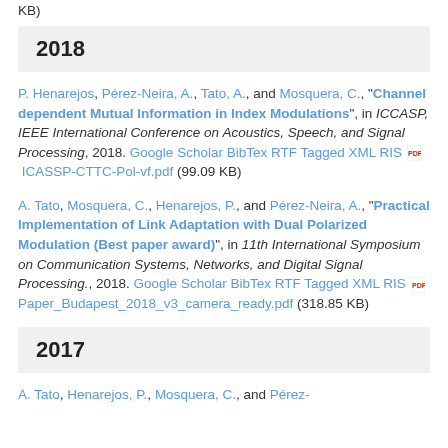KB)
2018
P. Henarejos, Pérez-Neira, A., Tato, A., and Mosquera, C., "Channel dependent Mutual Information in Index Modulations", in ICCASP, IEEE International Conference on Acoustics, Speech, and Signal Processing, 2018. Google Scholar BibTex RTF Tagged XML RIS ICASSP-CTTC-Pol-vf.pdf (99.09 KB)
A. Tato, Mosquera, C., Henarejos, P., and Pérez-Neira, A., "Practical Implementation of Link Adaptation with Dual Polarized Modulation (Best paper award)", in 11th International Symposium on Communication Systems, Networks, and Digital Signal Processing., 2018. Google Scholar BibTex RTF Tagged XML RIS Paper_Budapest_2018_v3_camera_ready.pdf (318.85 KB)
2017
A. Tato, Henarejos, P., Mosquera, C., and Pérez-